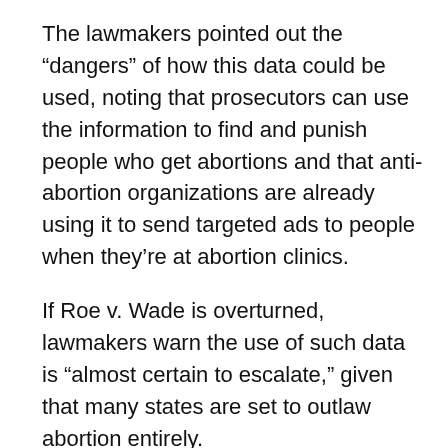The lawmakers pointed out the “dangers” of how this data could be used, noting that prosecutors can use the information to find and punish people who get abortions and that anti-abortion organizations are already using it to send targeted ads to people when they’re at abortion clinics.
If Roe v. Wade is overturned, lawmakers warn the use of such data is “almost certain to escalate,” given that many states are set to outlaw abortion entirely.
The companies’ responses to the concerns “[miss] the mark,” the lawmakers argue, after Pacer.ai removed its heat maps in response to the Vice